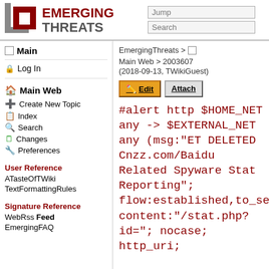Emerging Threats
Main
Log In
Main Web
Create New Topic
Index
Search
Changes
Preferences
User Reference
ATasteOfTWiki
TextFormattingRules
Signature Reference
WebRss Feed
EmergingFAQ
EmergingThreats > Main Web > 2003607 (2018-09-13, TWikiGuest)
#alert http $HOME_NET any -> $EXTERNAL_NET any (msg:"ET DELETED Cnzz.com/Baidu Related Spyware Stat Reporting"; flow:established,to_serve content:"/stat.php?id="; nocase; http_uri;